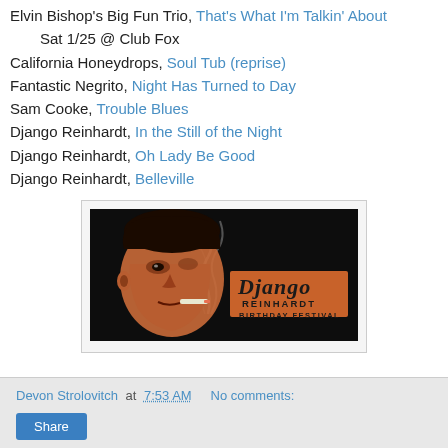Elvin Bishop's Big Fun Trio, That's What I'm Talkin' About
    Sat 1/25 @ Club Fox
California Honeydrops, Soul Tub (reprise)
Fantastic Negrito, Night Has Turned to Day
Sam Cooke, Trouble Blues
Django Reinhardt, In the Still of the Night
Django Reinhardt, Oh Lady Be Good
Django Reinhardt, Belleville
[Figure (illustration): Django Reinhardt Birthday Festival promotional image — stylized orange-toned portrait of Django Reinhardt smoking a cigarette against black background with 'Django Reinhardt Birthday Festival' text on an orange banner]
Devon Strolovitch at 7:53 AM   No comments:
Share